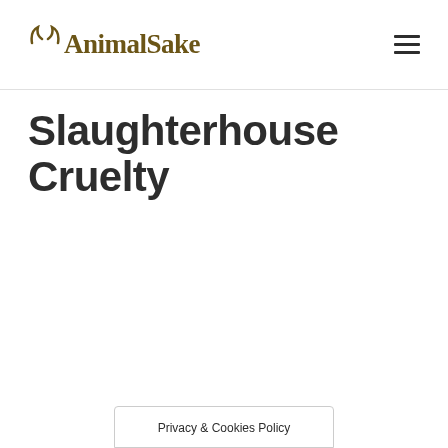AnimalSake
Slaughterhouse Cruelty
Privacy & Cookies Policy